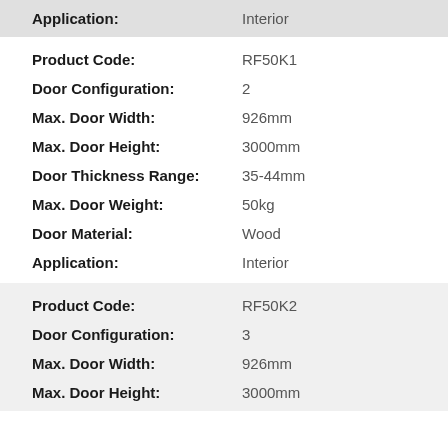| Property | Value |
| --- | --- |
| Application: | Interior |
| Product Code: | RF50K1 |
| Door Configuration: | 2 |
| Max. Door Width: | 926mm |
| Max. Door Height: | 3000mm |
| Door Thickness Range: | 35-44mm |
| Max. Door Weight: | 50kg |
| Door Material: | Wood |
| Application: | Interior |
| Product Code: | RF50K2 |
| Door Configuration: | 3 |
| Max. Door Width: | 926mm |
| Max. Door Height: | 3000mm |